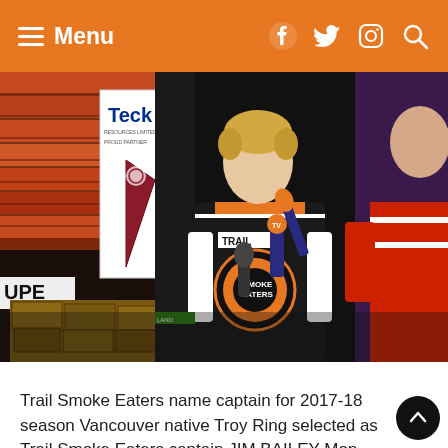Menu
[Figure (photo): A young hockey player wearing a Trail Smoke Eaters jersey being interviewed with a microphone. A Teck sponsor sign is visible in the background along with arena seats and boxes on the floor. Another person in a red jersey holds a microphone toward the player.]
Trail Smoke Eaters name captain for 2017-18 season Vancouver native Troy Ring selected as Trail Smoke Eaters captain JIM BAILEY Mon May 15th, 2017 1:30am LINK TO ORIGINAL TRAIL TIMES STORY Vancouver native Troy